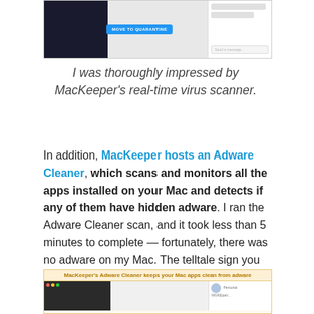[Figure (screenshot): Screenshot of MacKeeper antivirus interface showing a dark panel on the left, a quarantine button in the center, and a chat panel on the right]
I was thoroughly impressed by MacKeeper's real-time virus scanner.
In addition, MacKeeper hosts an Adware Cleaner, which scans and monitors all the apps installed on your Mac and detects if any of them have hidden adware. I ran the Adware Cleaner scan, and it took less than 5 minutes to complete — fortunately, there was no adware on my Mac. The telltale sign you have this virus on your Mac is if you get random pop-up advertisement ads inside apps or when you're online.
[Figure (screenshot): Screenshot showing MacKeeper's Adware Cleaner interface with caption: MacKeeper's Adware Cleaner keeps your Mac apps clean from adware]